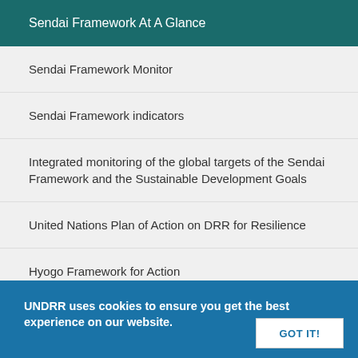Sendai Framework At A Glance
Sendai Framework Monitor
Sendai Framework indicators
Integrated monitoring of the global targets of the Sendai Framework and the Sustainable Development Goals
United Nations Plan of Action on DRR for Resilience
Hyogo Framework for Action
UNDRR uses cookies to ensure you get the best experience on our website.
GOT IT!